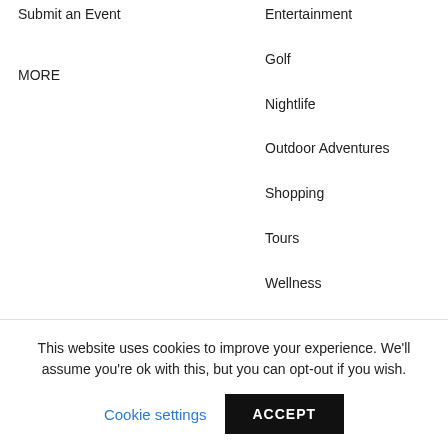Submit an Event
MORE
Entertainment
Golf
Nightlife
Outdoor Adventures
Shopping
Tours
Wellness
Experiences
MORE
PLAN
BLOG
This website uses cookies to improve your experience. We'll assume you're ok with this, but you can opt-out if you wish.
Cookie settings
ACCEPT